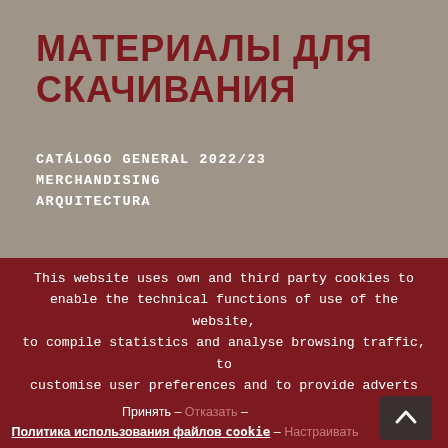МАТЕРИАЛЫ ДЛЯ СКАЧИВАНИЯ
CATÁLOGO GENERAL 2022/23
MERCHANDISING
ARQUITECTURA
This website uses own and third party cookies to enable the technical functions of use of the website, to compile statistics and analyse browsing traffic, to customise user preferences and to provide adverts and publicity. We also permit the use of functions that interact with social media.
Принять – Отказать – Политика использования файлов cookie – Настраивать